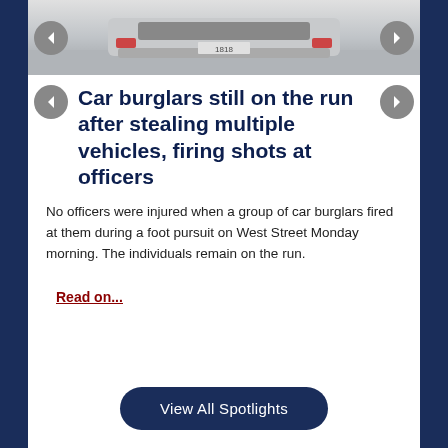[Figure (photo): Rear view of a police/law enforcement vehicle on a road surface]
Car burglars still on the run after stealing multiple vehicles, firing shots at officers
No officers were injured when a group of car burglars fired at them during a foot pursuit on West Street Monday morning. The individuals remain on the run.
Read on...
View All Spotlights